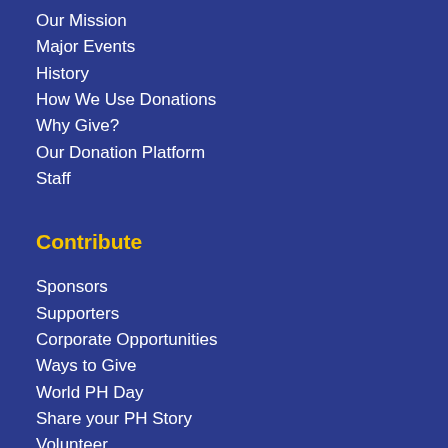Our Mission
Major Events
History
How We Use Donations
Why Give?
Our Donation Platform
Staff
Contribute
Sponsors
Supporters
Corporate Opportunities
Ways to Give
World PH Day
Share your PH Story
Volunteer
Join